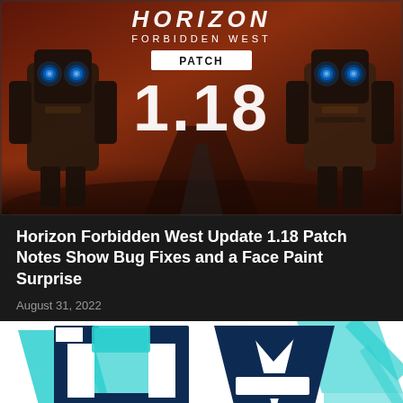[Figure (photo): Horizon Forbidden West Patch 1.18 promotional image showing two robotic machines with glowing blue lights against an orange/red desert sky background, with game logo and patch number displayed prominently]
Horizon Forbidden West Update 1.18 Patch Notes Show Bug Fixes and a Face Paint Surprise
August 31, 2022
[Figure (logo): UA logo on white background - dark blue stylized letters U and A with teal/cyan geometric accents and partial text below]